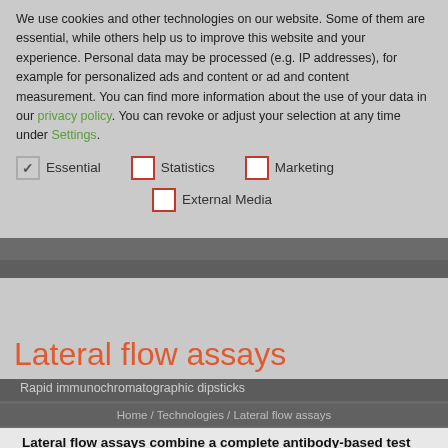We use cookies and other technologies on our website. Some of them are essential, while others help us to improve this website and your experience. Personal data may be processed (e.g. IP addresses), for example for personalized ads and content or ad and content measurement. You can find more information about the use of your data in our privacy policy. You can revoke or adjust your selection at any time under Settings.
Essential
Statistics
Marketing
External Media
Lateral flow assays
Rapid immunochromatographic dipsticks
Home / Technologies / Lateral flow assays
Lateral flow assays combine a complete antibody-based test system on a single membrane strip and allow to detect various analytes in only a few